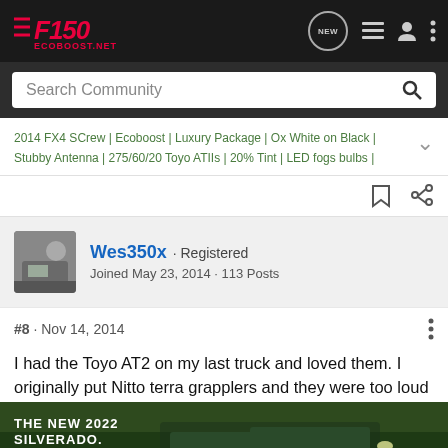F150 ECOBOOST.NET
Search Community
2014 FX4 SCrew | Ecoboost | Luxury Package | Ox White on Black | Stubby Antenna | 275/60/20 Toyo ATIIs | 20% Tint | LED fogs bulbs |
Wes350x · Registered
Joined May 23, 2014 · 113 Posts
#8 · Nov 14, 2014
I had the Toyo AT2 on my last truck and loved them. I originally put Nitto terra grapplers and they were too loud once the tread wore past 50%, also had one blow out at 65 MPH with half tread.
[Figure (screenshot): Advertisement banner for The New 2022 Silverado by Chevrolet, showing truck in forest setting with Explore button]